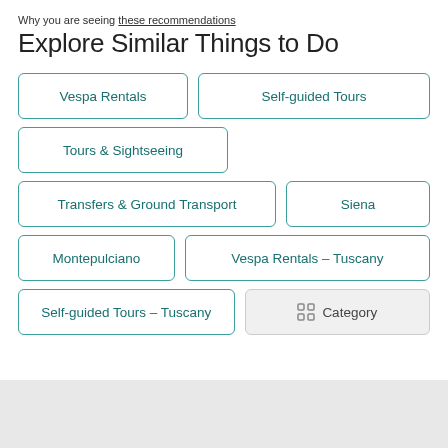Why you are seeing these recommendations
Explore Similar Things to Do
Vespa Rentals
Self-guided Tours
Tours & Sightseeing
Transfers & Ground Transport
Siena
Montepulciano
Vespa Rentals - Tuscany
Self-guided Tours - Tuscany
Category